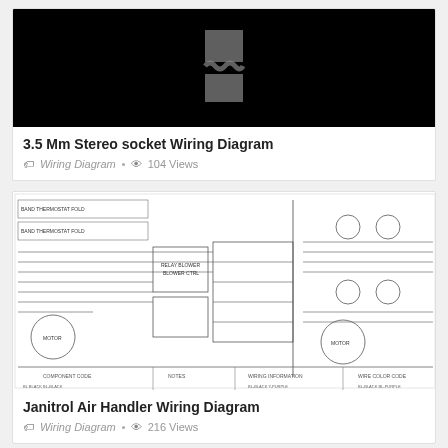[Figure (screenshot): Black background with broken image icon (gray rectangles forming a broken image placeholder symbol)]
3.5 Mm Stereo socket Wiring Diagram
Wiring Diagram  •  104 Views
[Figure (schematic): Janitrol Air Handler wiring diagram showing electrical schematic with components, wiring, color codes, and notes sections]
Janitrol Air Handler Wiring Diagram
Wiring Diagram  •  216 Views